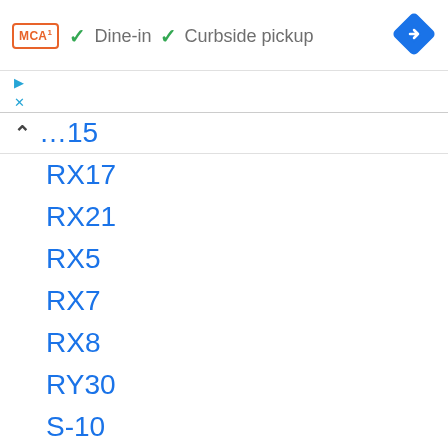[Figure (logo): MCD logo in orange border box]
✓ Dine-in  ✓ Curbside pickup
[Figure (other): Blue navigation arrow diamond icon]
...15
RX17
RX21
RX5
RX7
RX8
RY30
S-10
S-220
S-330